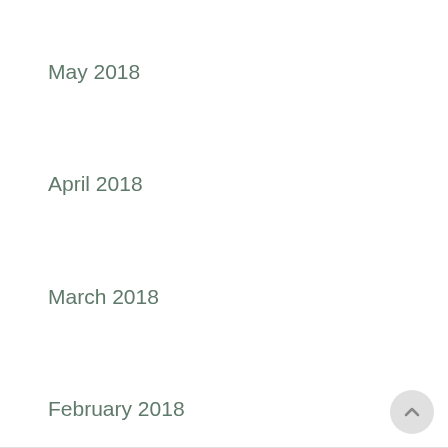May 2018
April 2018
March 2018
February 2018
January 2018
March 2014
December 2013
October 2013